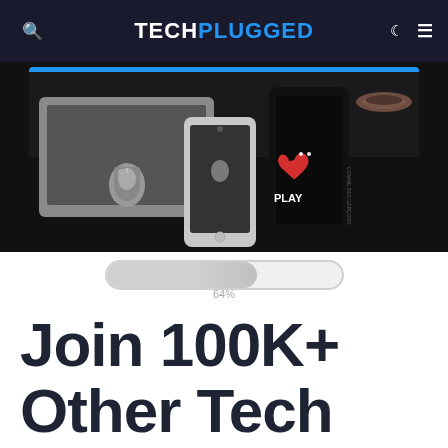TECHPLUGGED
[Figure (photo): Photo of Apple laptop, iPhone, and a black phone case with red heart PLAY logo on dark background]
64%
Join 100K+ Other Tech Lovers